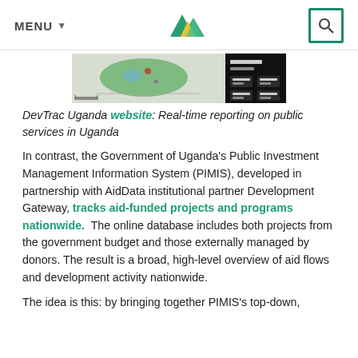MENU
[Figure (screenshot): Screenshot of DevTrac Uganda map/dashboard interface showing a geographical map of Uganda with colored overlays and a dark panel with data on the right.]
DevTrac Uganda website: Real-time reporting on public services in Uganda
In contrast, the Government of Uganda's Public Investment Management Information System (PIMIS), developed in partnership with AidData institutional partner Development Gateway, tracks aid-funded projects and programs nationwide. The online database includes both projects from the government budget and those externally managed by donors. The result is a broad, high-level overview of aid flows and development activity nationwide.
The idea is this: by bringing together PIMIS's top-down,